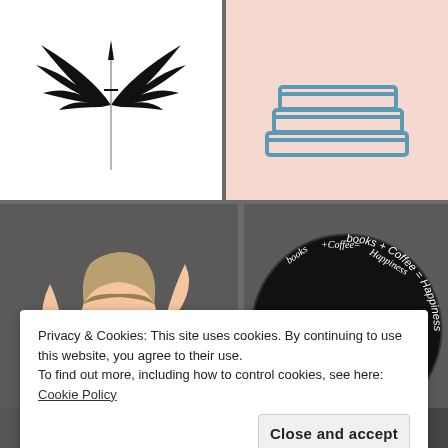[Figure (illustration): Black winged emblem/logo with a sword/feather in center on white background]
[Figure (illustration): Stack of books icon in teal/blue outline on pink/peach background]
[Figure (illustration): Illustrated portrait of a woman with blonde hair wearing a white garment, arms raised]
[Figure (logo): Circular logo reading 'Books+Coffee=Happiness' with an open book (teal) and coffee cup (purple) on black background]
Privacy & Cookies: This site uses cookies. By continuing to use this website, you agree to their use.
To find out more, including how to control cookies, see here: Cookie Policy
Close and accept
[Figure (photo): Partial photo of a person at bottom left]
DAMIR SALKOVIC